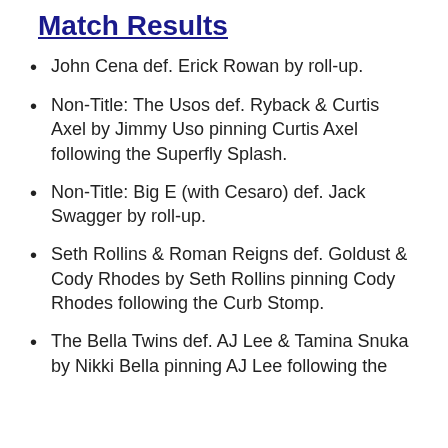Match Results
John Cena def. Erick Rowan by roll-up.
Non-Title: The Usos def. Ryback & Curtis Axel by Jimmy Uso pinning Curtis Axel following the Superfly Splash.
Non-Title: Big E (with Cesaro) def. Jack Swagger by roll-up.
Seth Rollins & Roman Reigns def. Goldust & Cody Rhodes by Seth Rollins pinning Cody Rhodes following the Curb Stomp.
The Bella Twins def. AJ Lee & Tamina Snuka by Nikki Bella pinning AJ Lee following the